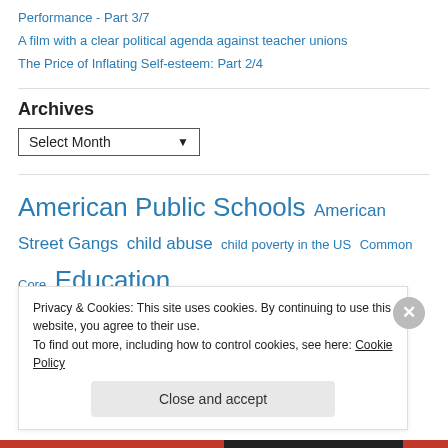Performance - Part 3/7
A film with a clear political agenda against teacher unions
The Price of Inflating Self-esteem: Part 2/4
Archives
Select Month
American Public Schools  American Street Gangs  child abuse  child poverty in the US  Common Core  Education
Privacy & Cookies: This site uses cookies. By continuing to use this website, you agree to their use.
To find out more, including how to control cookies, see here: Cookie Policy
Close and accept